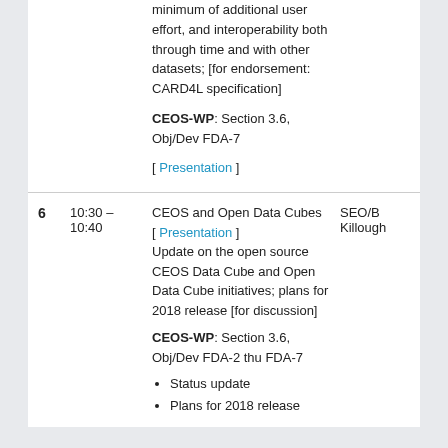minimum of additional user effort, and interoperability both through time and with other datasets; [for endorsement: CARD4L specification]
CEOS-WP: Section 3.6, Obj/Dev FDA-7
[ Presentation ]
| # | Time | Content | Person |
| --- | --- | --- | --- |
| 6 | 10:30 – 10:40 | CEOS and Open Data Cubes [ Presentation ] Update on the open source CEOS Data Cube and Open Data Cube initiatives; plans for 2018 release [for discussion] CEOS-WP: Section 3.6, Obj/Dev FDA-2 thu FDA-7 • Status update • Plans for 2018 release | SEO/B Killough |